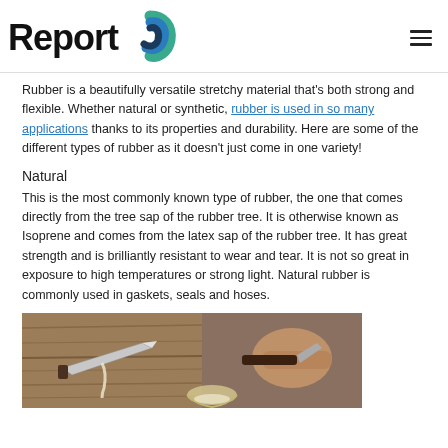Report
Rubber is a beautifully versatile stretchy material that's both strong and flexible. Whether natural or synthetic, rubber is used in so many applications thanks to its properties and durability. Here are some of the different types of rubber as it doesn't just come in one variety!
Natural
This is the most commonly known type of rubber, the one that comes directly from the tree sap of the rubber tree. It is otherwise known as Isoprene and comes from the latex sap of the rubber tree. It has great strength and is brilliantly resistant to wear and tear. It is not so great in exposure to high temperatures or strong light. Natural rubber is commonly used in gaskets, seals and hoses.
[Figure (photo): Photo of rubber tapping from a rubber tree, showing a blade cutting into bark and latex sap being collected]